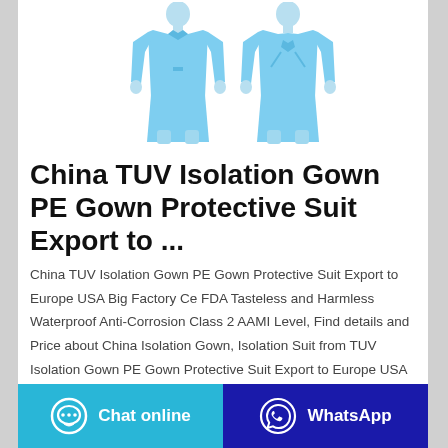[Figure (photo): Two mannequins wearing blue disposable isolation gowns / protective suits, shown from front and back views]
China TUV Isolation Gown PE Gown Protective Suit Export to ...
China TUV Isolation Gown PE Gown Protective Suit Export to Europe USA Big Factory Ce FDA Tasteless and Harmless Waterproof Anti-Corrosion Class 2 AAMI Level, Find details and Price about China Isolation Gown, Isolation Suit from TUV Isolation Gown PE Gown Protective Suit Export to Europe USA Big Factory Ce